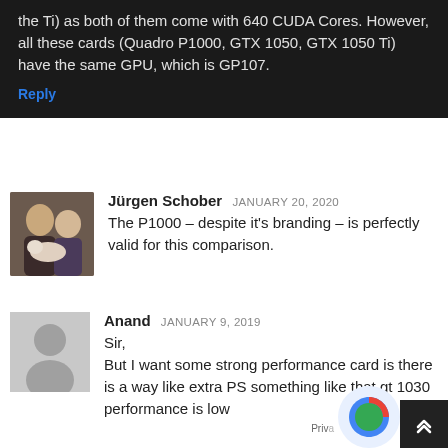the Ti) as both of them come with 640 CUDA Cores. However, all these cards (Quadro P1000, GTX 1050, GTX 1050 Ti) have the same GPU, which is GP107.
Reply
Jürgen Schober JANUARY 20, 2020
The P1000 – despite it's branding – is perfectly valid for this comparison.
Anand JANUARY 9, 2019
Sir,
But I want some strong performance card is there is a way like extra PS something like that gt 1030 performance is low